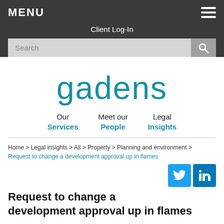MENU
Client Log-In
Search
[Figure (logo): Gadens law firm logo — 'gadens' in large teal lowercase text]
Our Services | Meet our People | Legal Insights
Home > Legal insights > All > Property > Planning and environment > Request to change a development approval up in flames
Request to change a development approval up in flames